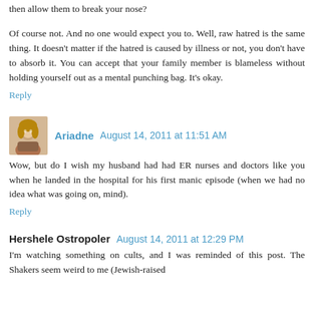then allow them to break your nose?
Of course not. And no one would expect you to. Well, raw hatred is the same thing. It doesn't matter if the hatred is caused by illness or not, you don't have to absorb it. You can accept that your family member is blameless without holding yourself out as a mental punching bag. It's okay.
Reply
Ariadne  August 14, 2011 at 11:51 AM
Wow, but do I wish my husband had had ER nurses and doctors like you when he landed in the hospital for his first manic episode (when we had no idea what was going on, mind).
Reply
Hershele Ostropoler  August 14, 2011 at 12:29 PM
I'm watching something on cults, and I was reminded of this post. The Shakers seem weird to me (Jewish-raised